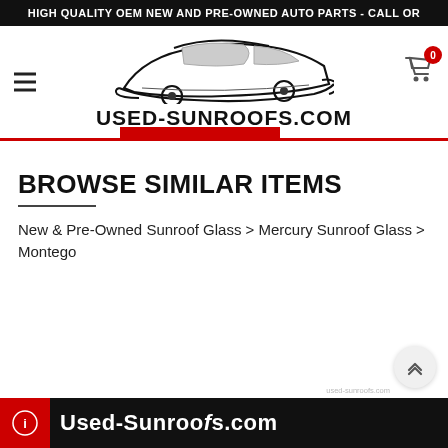HIGH QUALITY OEM NEW AND PRE-OWNED AUTO PARTS - CALL OR
[Figure (logo): Used-Sunroofs.com car silhouette logo with sports car outline and site name text]
BROWSE SIMILAR ITEMS
New & Pre-Owned Sunroof Glass > Mercury Sunroof Glass > Montego
[Figure (screenshot): Bottom strip showing Used-Sunroofs.com banner with red icon on left]